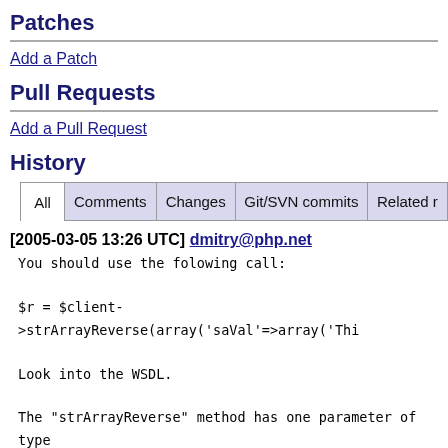Patches
Add a Patch
Pull Requests
Add a Pull Request
History
| All | Comments | Changes | Git/SVN commits | Related r |
| --- | --- | --- | --- | --- |
[2005-03-05 13:26 UTC] dmitry@php.net
You should use the folowing call:

$r = $client->strArrayReverse(array('saVal'=>array('Thi

Look into the WSDL.

The "strArrayReverse" method has one parameter of type
element named "saVal" of type "stringArray".